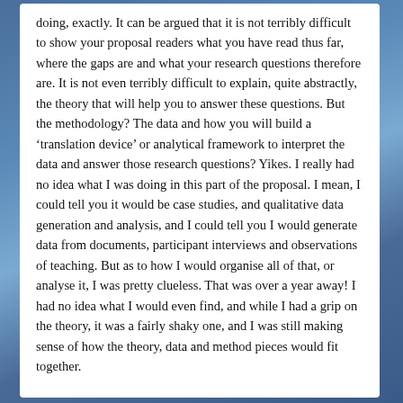doing, exactly. It can be argued that it is not terribly difficult to show your proposal readers what you have read thus far, where the gaps are and what your research questions therefore are. It is not even terribly difficult to explain, quite abstractly, the theory that will help you to answer these questions. But the methodology? The data and how you will build a 'translation device' or analytical framework to interpret the data and answer those research questions? Yikes. I really had no idea what I was doing in this part of the proposal. I mean, I could tell you it would be case studies, and qualitative data generation and analysis, and I could tell you I would generate data from documents, participant interviews and observations of teaching. But as to how I would organise all of that, or analyse it, I was pretty clueless. That was over a year away! I had no idea what I would even find, and while I had a grip on the theory, it was a fairly shaky one, and I was still making sense of how the theory, data and method pieces would fit together.